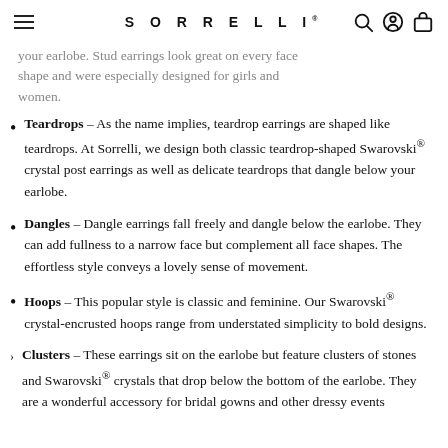SORRELLI
your earlobe. Stud earrings look great on every face shape and were especially designed for girls and women.
Teardrops – As the name implies, teardrop earrings are shaped like teardrops. At Sorrelli, we design both classic teardrop-shaped Swarovski® crystal post earrings as well as delicate teardrops that dangle below your earlobe.
Dangles – Dangle earrings fall freely and dangle below the earlobe. They can add fullness to a narrow face but complement all face shapes. The effortless style conveys a lovely sense of movement.
Hoops – This popular style is classic and feminine. Our Swarovski® crystal-encrusted hoops range from understated simplicity to bold designs.
Clusters – These earrings sit on the earlobe but feature clusters of stones and Swarovski® crystals that drop below the bottom of the earlobe. They are a wonderful accessory for bridal gowns and other dressy events.